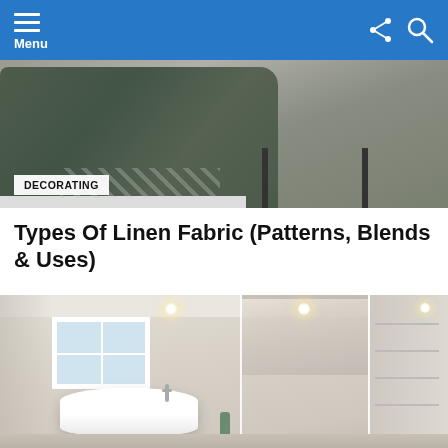Menu
[Figure (photo): Photo of a dark green knitted blanket draped on a floor with a patterned rug, with a bench partially visible, with a DECORATING category tag overlay]
DECORATING
Types Of Linen Fabric (Patterns, Blends & Uses)
[Figure (photo): Photo of a modern bathroom interior with a freestanding white bathtub, a large glass shower enclosure with marble tile walls, recessed ceiling lights, a window, and a walk-in closet visible to the right]